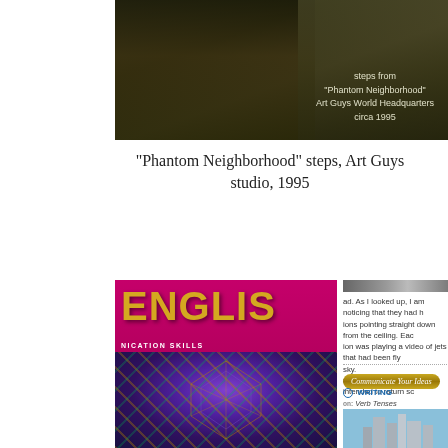[Figure (photo): Outdoor photo showing steps/garden area with overlay text about Phantom Neighborhood, Art Guys World Headquarters, circa 1995]
"Phantom Neighborhood" steps, Art Guys studio, 1995
[Figure (photo): Cover of English Communication Skills in the New Millennium textbook with colorful kaleidoscopic pattern]
[Figure (photo): Small strip photo at top right]
ad. As I looked up, I am noticing that they had h ions pointing straight down from the ceiling. Eac ion was playing a video of jets that had been fly sky. n glad to go to the exhibit. I intended to return sc
Communicate Your Ideas
WRITING
Verb Tenses
[Figure (photo): Photo of city skyline (Houston, Texas) with skyscrapers and park/bayou in foreground]
a. Phantom Neighborhood, 1995.
in Buffalo Bayou Park in Houston, Texas, and yo mysterious steps shown in this photo. A passing asks you why they are there. Write an explanatic tourist. Describe the past, present, and future of the steps. Try to incorporate all the verb ten your students. Then edit your work for intern